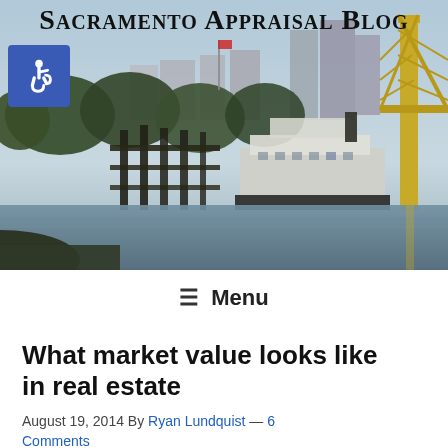Sacramento Appraisal Blog
[Figure (photo): Scenic photo of Sacramento waterfront with river, docked ferry boat, trees, buildings, and the yellow Tower Bridge visible on the right side]
≡  Menu
What market value looks like in real estate
August 19, 2014 By Ryan Lundquist — 6 Comments